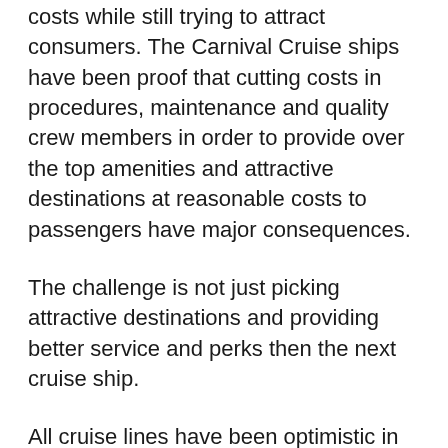costs while still trying to attract consumers. The Carnival Cruise ships have been proof that cutting costs in procedures, maintenance and quality crew members in order to provide over the top amenities and attractive destinations at reasonable costs to passengers have major consequences.
The challenge is not just picking attractive destinations and providing better service and perks then the next cruise ship.
All cruise lines have been optimistic in light of the horrific at-sea events, through the release of big upgrades, innovations and reengineered cruise ships in attempt to save the industry and their images. Cruise lines are taking on the challenge by restructuring ships to be the destination. An editor of cruisecritic.com , Caroyln Spencer Brown believes that "When you start